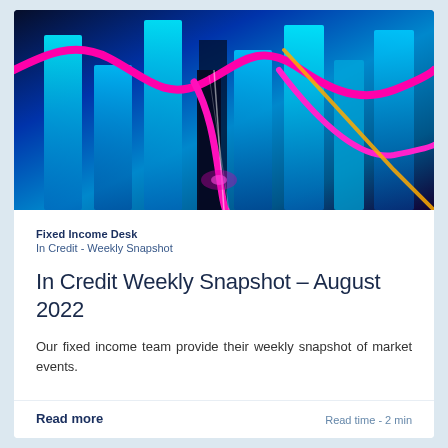[Figure (photo): Abstract financial chart visualization with neon pink wavy lines and cyan/blue bar chart shapes on dark background, representing market data]
Fixed Income Desk
In Credit - Weekly Snapshot
In Credit Weekly Snapshot – August 2022
Our fixed income team provide their weekly snapshot of market events.
Read more
Read time - 2 min